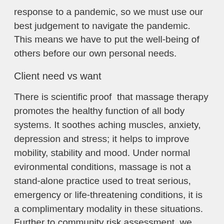response to a pandemic, so we must use our best judgement to navigate the pandemic. This means we have to put the well-being of others before our own personal needs.
Client need vs want
There is scientific proof  that massage therapy promotes the healthy function of all body systems. It soothes aching muscles, anxiety, depression and stress; it helps to improve mobility, stability and mood. Under normal evironmental conditions, massage is not a stand-alone practice used to treat serious, emergency or life-threatening conditions, it is a complimentary modality in these situations. Further to community risk assessment, we must consider the potential outcomes for each client: "will treatment prevent my client from being hospitalized and/or from dying?" - the answer is most-likely "no".